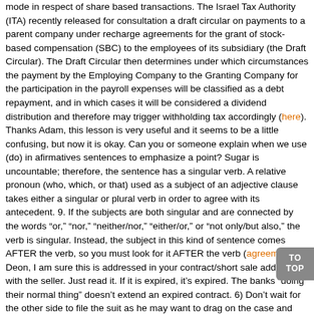mode in respect of share based transactions. The Israel Tax Authority (ITA) recently released for consultation a draft circular on payments to a parent company under recharge agreements for the grant of stock-based compensation (SBC) to the employees of its subsidiary (the Draft Circular). The Draft Circular then determines under which circumstances the payment by the Employing Company to the Granting Company for the participation in the payroll expenses will be classified as a debt repayment, and in which cases it will be considered a dividend distribution and therefore may trigger withholding tax accordingly (here). Thanks Adam, this lesson is very useful and it seems to be a little confusing, but now it is okay. Can you or someone explain when we use (do) in afirmatives sentences to emphasize a point? Sugar is uncountable; therefore, the sentence has a singular verb. A relative pronoun (who, which, or that) used as a subject of an adjective clause takes either a singular or plural verb in order to agree with its antecedent. 9. If the subjects are both singular and are connected by the words "or," "nor," "neither/nor," "either/or," or "not only/but also," the verb is singular. Instead, the subject in this kind of sentence comes AFTER the verb, so you must look for it AFTER the verb (agreement). Deon, I am sure this is addressed in your contract/short sale addendum with the seller. Just read it. If it is expired, it's expired. The banks "doing their normal thing" doesn't extend an expired contract. 6) Don't wait for the other side to file the suit as he may want to drag on the case and create a scene that your property is a disputed property. 5) You will get judgment in your favour only( you have done the registration of agreement of sale, you have waited for 6 months and you are ready to comply with your part (i,e refunding advance minus 50000) here. An agreement is any understanding or arrangement reached between two or more parties. A contract is a specific type of agreement that, by its terms and elements, is legally binding and enforceable in a court of law. Customer claims against securities brokers and dealers are